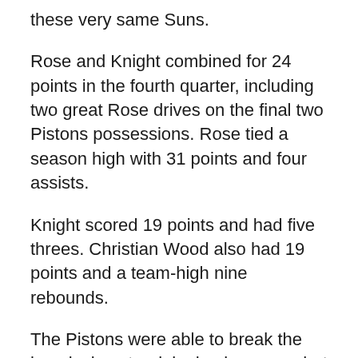these very same Suns.
Rose and Knight combined for 24 points in the fourth quarter, including two great Rose drives on the final two Pistons possessions. Rose tied a season high with 31 points and four assists.
Knight scored 19 points and had five threes. Christian Wood also had 19 points and a team-high nine rebounds.
The Pistons were able to break the long losing streak by having a rare hot shooting night from beyond the arc, connecting on 41% of their shots from the perimeter.
Head coach Dwane Casey, smelling a possible victory and the end to the team's longest losing skid of the